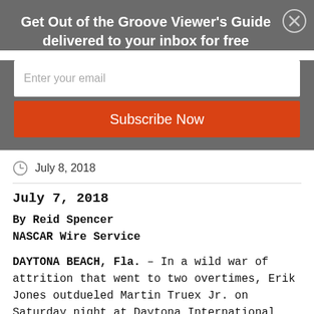Get Out of the Groove Viewer's Guide delivered to your inbox for free
Enter your email
Subscribe Now
July 8, 2018
July 7, 2018
By Reid Spencer
NASCAR Wire Service
DAYTONA BEACH, Fla. – In a wild war of attrition that went to two overtimes, Erik Jones outdueled Martin Truex Jr. on Saturday night at Daytona International Speedway to seize the